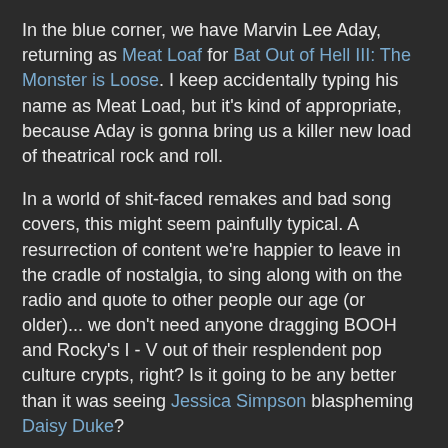In the blue corner, we have Marvin Lee Aday, returning as Meat Loaf for Bat Out of Hell III: The Monster is Loose. I keep accidentally typing his name as Meat Load, but it's kind of appropriate, because Aday is gonna bring us a killer new load of theatrical rock and roll.
In a world of shit-faced remakes and bad song covers, this might seem painfully typical. A resurrection of content we're happier to leave in the cradle of nostalgia, to sing along with on the radio and quote to other people our age (or older)... we don't need anyone dragging BOOH and Rocky's I - V out of their resplendent pop culture crypts, right? Is it going to be any better than it was seeing Jessica Simpson blaspheming Daisy Duke?
The answer is YES, people, because there's a critical principle at work here. These may reference our collective childhood, but they're not remakes or revitalizations. The classics always pale in comparison to their imitations, and nothing's gonna change that. But these aren't imitations. There are the original artists, coming back to defend their